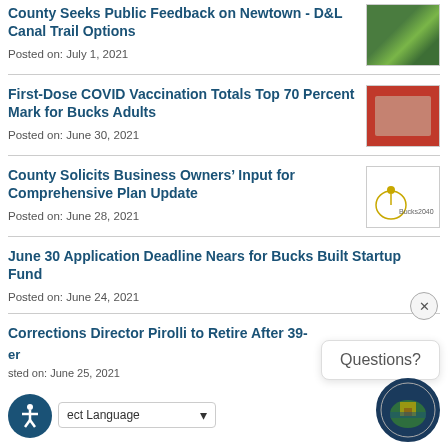County Seeks Public Feedback on Newtown - D&L Canal Trail Options
Posted on: July 1, 2021
First-Dose COVID Vaccination Totals Top 70 Percent Mark for Bucks Adults
Posted on: June 30, 2021
County Solicits Business Owners’ Input for Comprehensive Plan Update
Posted on: June 28, 2021
June 30 Application Deadline Nears for Bucks Built Startup Fund
Posted on: June 24, 2021
Corrections Director Pirolli to Retire After 39-[Year Career]
Posted on: June 25, 2021
Questions?
ect Language